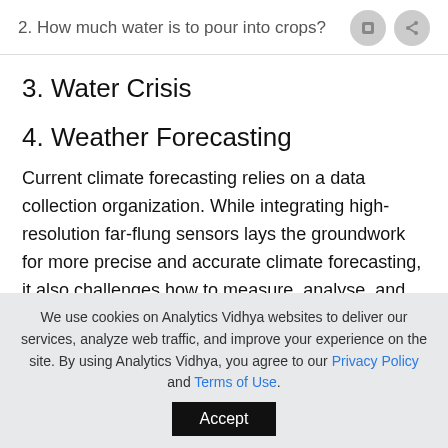2. How much water is to pour into crops?
3. Water Crisis
4. Weather Forecasting
Current climate forecasting relies on a data collection organization. While integrating high-resolution far-flung sensors lays the groundwork for more precise and accurate climate forecasting, it also challenges how to measure, analyse, and
We use cookies on Analytics Vidhya websites to deliver our services, analyze web traffic, and improve your experience on the site. By using Analytics Vidhya, you agree to our Privacy Policy and Terms of Use.